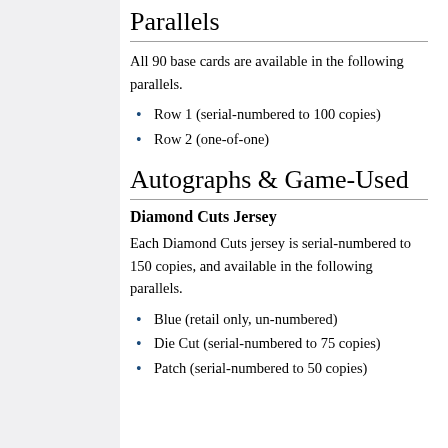Parallels
All 90 base cards are available in the following parallels.
Row 1 (serial-numbered to 100 copies)
Row 2 (one-of-one)
Autographs & Game-Used
Diamond Cuts Jersey
Each Diamond Cuts jersey is serial-numbered to 150 copies, and available in the following parallels.
Blue (retail only, un-numbered)
Die Cut (serial-numbered to 75 copies)
Patch (serial-numbered to 50 copies)